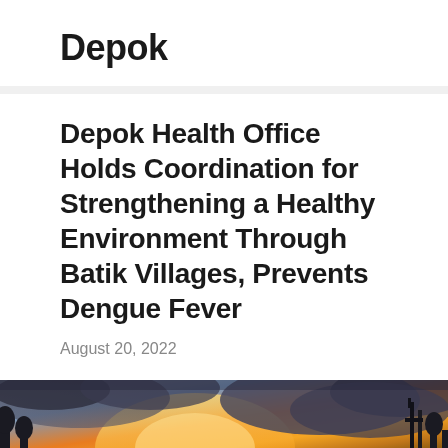Depok
Depok Health Office Holds Coordination for Strengthening a Healthy Environment Through Batik Villages, Prevents Dengue Fever
August 20, 2022
[Figure (photo): Outdoor landscape photograph showing a dramatic sunset sky with orange and golden tones amid dark clouds, with trees and a structure visible on the right edge.]